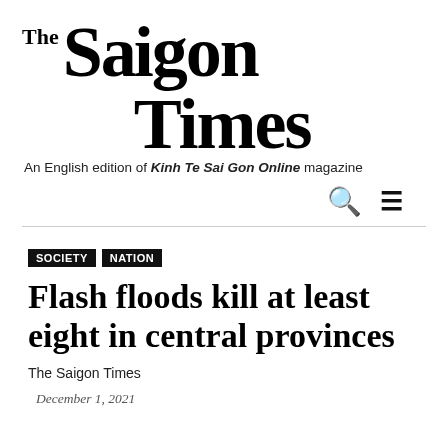The Saigon Times — An English edition of Kinh Te Sai Gon Online magazine
SOCIETY
NATION
Flash floods kill at least eight in central provinces
The Saigon Times
December 1, 2021